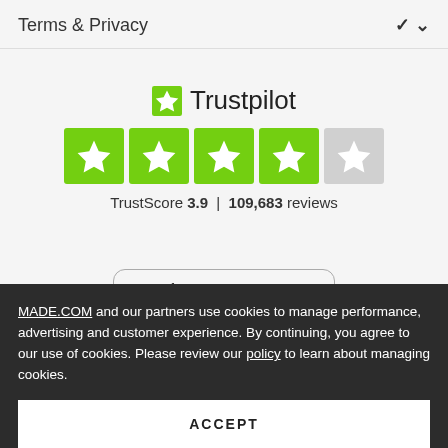Terms & Privacy
[Figure (logo): Trustpilot logo with green star and text 'Trustpilot', followed by 4 green star rating boxes and 1 grey star box, with TrustScore 3.9 | 109,683 reviews]
TrustScore 3.9 | 109,683 reviews
[Figure (screenshot): Partial App Store button with Apple logo and partial text 'App St...']
MADE.COM and our partners use cookies to manage performance, advertising and customer experience. By continuing, you agree to our use of cookies. Please review our policy to learn about managing cookies.
ACCEPT